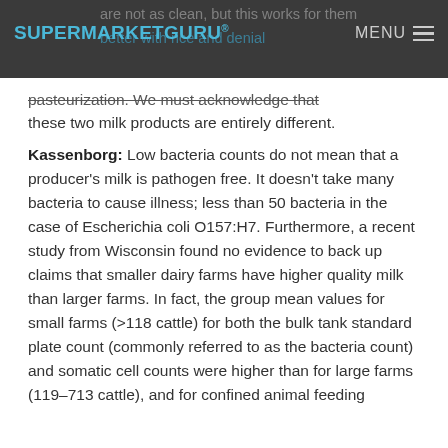SUPERMARKETGURU® MENU
are not as clean, but this works for them better with rice and denial pasteurization. We must acknowledge that these two milk products are entirely different.
Kassenborg: Low bacteria counts do not mean that a producer's milk is pathogen free. It doesn't take many bacteria to cause illness; less than 50 bacteria in the case of Escherichia coli O157:H7. Furthermore, a recent study from Wisconsin found no evidence to back up claims that smaller dairy farms have higher quality milk than larger farms. In fact, the group mean values for small farms (>118 cattle) for both the bulk tank standard plate count (commonly referred to as the bacteria count) and somatic cell counts were higher than for large farms (119–713 cattle), and for confined animal feeding